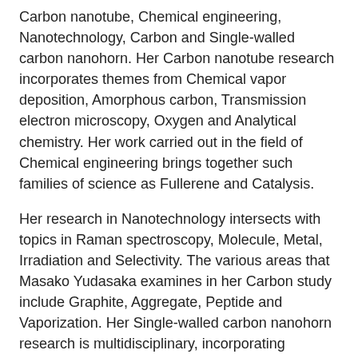Carbon nanotube, Chemical engineering, Nanotechnology, Carbon and Single-walled carbon nanohorn. Her Carbon nanotube research incorporates themes from Chemical vapor deposition, Amorphous carbon, Transmission electron microscopy, Oxygen and Analytical chemistry. Her work carried out in the field of Chemical engineering brings together such families of science as Fullerene and Catalysis.
Her research in Nanotechnology intersects with topics in Raman spectroscopy, Molecule, Metal, Irradiation and Selectivity. The various areas that Masako Yudasaka examines in her Carbon study include Graphite, Aggregate, Peptide and Vaporization. Her Single-walled carbon nanohorn research is multidisciplinary, incorporating elements of Drug delivery, Toxicity, Adsorption and Electrode.